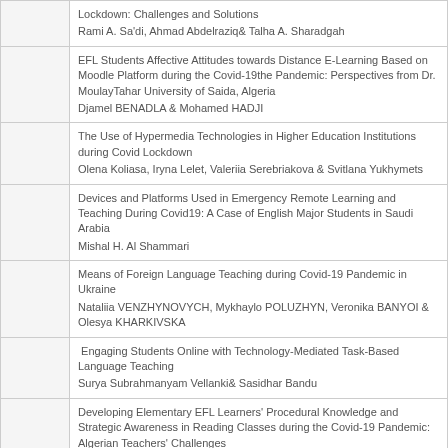|  | Lockdown: Challenges and Solutions
Rami A. Sa'di, Ahmad Abdelraziq& Talha A. Sharadgah |
|  | EFL Students Affective Attitudes towards Distance E-Learning Based on Moodle Platform during the Covid-19the Pandemic: Perspectives from Dr. MoulayTahar University of Saida, Algeria
Djamel BENADLA & Mohamed HADJI |
|  | The Use of Hypermedia Technologies in Higher Education Institutions during Covid Lockdown
Olena Koliasa, Iryna Lelet, Valeriia Serebriakova & Svitlana Yukhymets |
|  | Devices and Platforms Used in Emergency Remote Learning and Teaching During Covid19: A Case of English Major Students in Saudi Arabia
Mishal H. Al Shammari |
|  | Means of Foreign Language Teaching during Covid-19 Pandemic in Ukraine
Nataliia VENZHYNOVYCH, Mykhaylo POLUZHYN, Veronika BANYOI & Olesya KHARKIVSKA |
|  | Engaging Students Online with Technology-Mediated Task-Based Language Teaching
Surya Subrahmanyam Vellanki& Sasidhar Bandu |
|  | Developing Elementary EFL Learners' Procedural Knowledge and Strategic Awareness in Reading Classes during the Covid-19 Pandemic: Algerian Teachers' Challenges
Kamila AMMOUR |
|  |  |